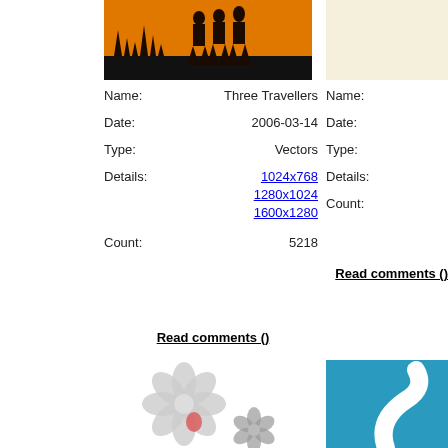[Figure (photo): Orange and black image with silhouette of three travellers walking]
[Figure (photo): Cream/beige colored image partially visible on right]
Name:   Three Travellers   Name:
Date:   2006-03-14   Date:
Type:   Vectors   Type:
Details:   1024x768
1280x1024
1600x1280   Details:
Count:   5218   Count:
Read comments ()
Read comments ()
[Figure (photo): Floral/flower illustration with grey and pink colors]
[Figure (photo): Teal/blue image with white curved shape partially visible]